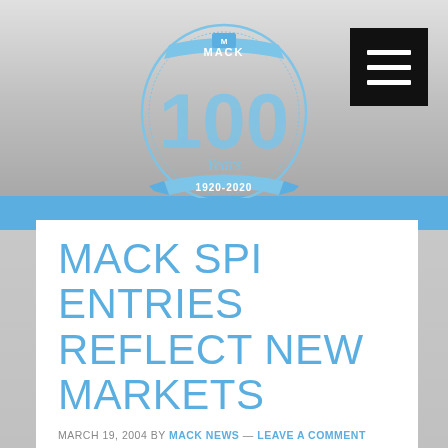[Figure (logo): Mack Trucks 100 Years 1920-2020 anniversary logo, blue oval with large '100' text and banner]
MACK SPI ENTRIES REFLECT NEW MARKETS
MARCH 19, 2004 BY MACK NEWS — LEAVE A COMMENT
FOR IMMEDIATE RELEASE
CHARLOTTE, N.C. – Formerly focused primarily on the high-end sector of the computer and